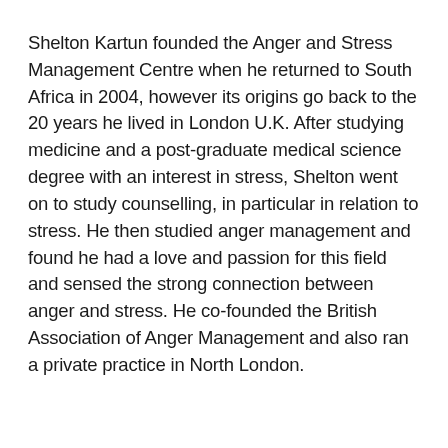Shelton Kartun founded the Anger and Stress Management Centre when he returned to South Africa in 2004, however its origins go back to the 20 years he lived in London U.K. After studying medicine and a post-graduate medical science degree with an interest in stress, Shelton went on to study counselling, in particular in relation to stress. He then studied anger management and found he had a love and passion for this field and sensed the strong connection between anger and stress. He co-founded the British Association of Anger Management and also ran a private practice in North London.